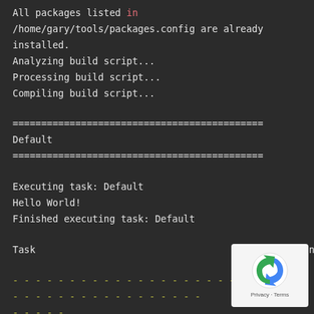All packages listed in /home/gary/tools/packages.config are already installed.
Analyzing build script...
Processing build script...
Compiling build script...
============================================
Default
============================================
Executing task: Default
Hello World!
Finished executing task: Default
Task                                          Duration
--------------------------------------------
------
Default
[Figure (logo): reCAPTCHA logo with Privacy Terms overlay badge]